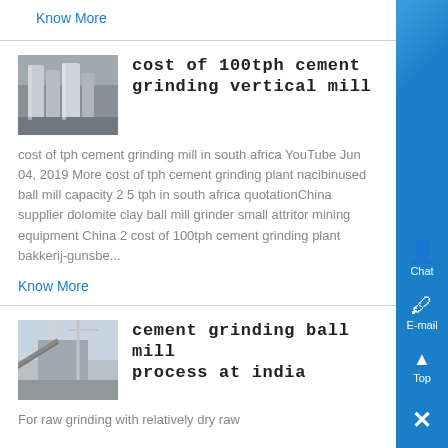Know More
[Figure (photo): Industrial cement grinding vertical mill facility with silos]
cost of 100tph cement grinding vertical mill
cost of tph cement grinding mill in south africa YouTube Jun 04, 2019 More cost of tph cement grinding plant nacibinused ball mill capacity 2 5 tph in south africa quotationChina supplier dolomite clay ball mill grinder small attritor mining equipment China 2 cost of 100tph cement grinding plant bakkerij-gunsbe...
Know More
[Figure (photo): Cement grinding ball mill plant at India]
cement grinding ball mill process at india
For raw grinding with relatively dry raw